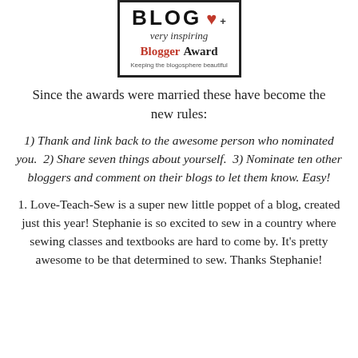[Figure (illustration): Very Inspiring Blogger Award badge with heart logo, script text 'very inspiring', bold 'Blogger Award' in red and black, and tagline 'Keeping the blogosphere beautiful']
Since the awards were married these have become the new rules:
1) Thank and link back to the awesome person who nominated you.  2) Share seven things about yourself.  3) Nominate ten other bloggers and comment on their blogs to let them know. Easy!
1. Love-Teach-Sew is a super new little poppet of a blog, created just this year! Stephanie is so excited to sew in a country where sewing classes and textbooks are hard to come by. It's pretty awesome to be that determined to sew. Thanks Stephanie!